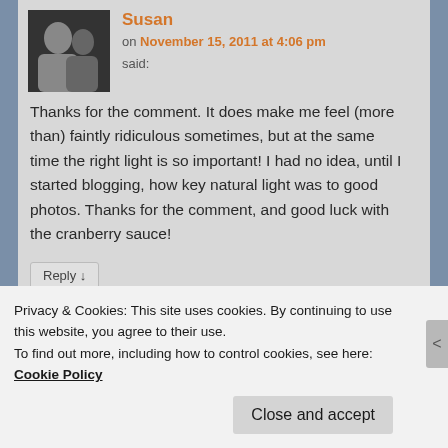Susan
on November 15, 2011 at 4:06 pm said:
Thanks for the comment. It does make me feel (more than) faintly ridiculous sometimes, but at the same time the right light is so important! I had no idea, until I started blogging, how key natural light was to good photos. Thanks for the comment, and good luck with the cranberry sauce!
Reply ↓
Privacy & Cookies: This site uses cookies. By continuing to use this website, you agree to their use.
To find out more, including how to control cookies, see here: Cookie Policy
Close and accept